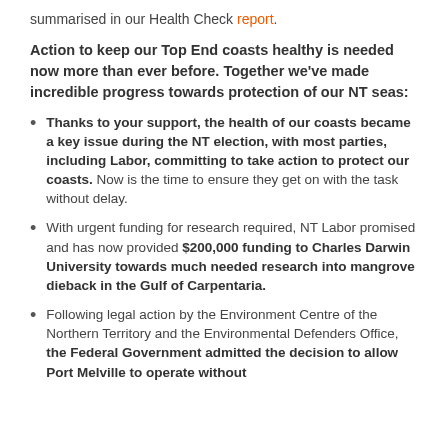summarised in our Health Check report.
Action to keep our Top End coasts healthy is needed now more than ever before. Together we've made incredible progress towards protection of our NT seas:
Thanks to your support, the health of our coasts became a key issue during the NT election, with most parties, including Labor, committing to take action to protect our coasts. Now is the time to ensure they get on with the task without delay.
With urgent funding for research required, NT Labor promised and has now provided $200,000 funding to Charles Darwin University towards much needed research into mangrove dieback in the Gulf of Carpentaria.
Following legal action by the Environment Centre of the Northern Territory and the Environmental Defenders Office, the Federal Government admitted the decision to allow Port Melville to operate without